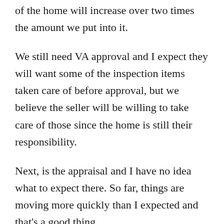of the home will increase over two times the amount we put into it.
We still need VA approval and I expect they will want some of the inspection items taken care of before approval, but we believe the seller will be willing to take care of those since the home is still their responsibility.
Next, is the appraisal and I have no idea what to expect there. So far, things are moving more quickly than I expected and that’s a good thing.
The girls expressed their growing excitement